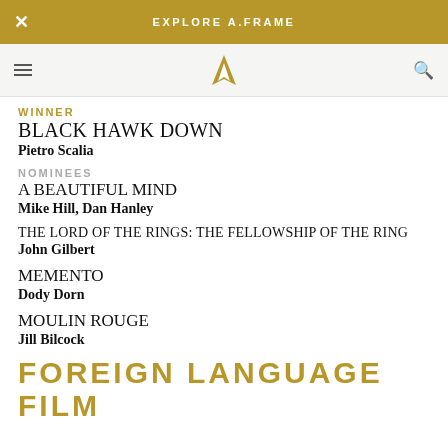EXPLORE A.FRAME
WINNER
BLACK HAWK DOWN
Pietro Scalia
NOMINEES
A BEAUTIFUL MIND
Mike Hill, Dan Hanley
THE LORD OF THE RINGS: THE FELLOWSHIP OF THE RING
John Gilbert
MEMENTO
Dody Dorn
MOULIN ROUGE
Jill Bilcock
FOREIGN LANGUAGE FILM